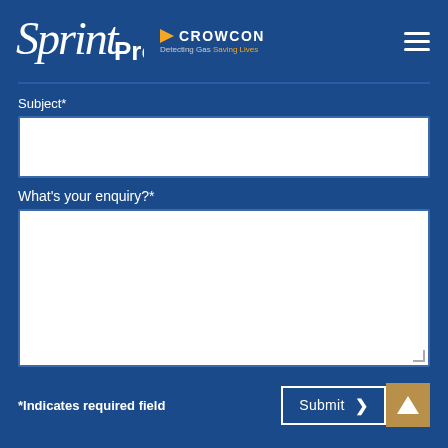[Figure (logo): Sprint Pro logo with Crowcon branding and hamburger menu on blue background header]
Subject*
What's your enquiry?*
*Indicates required field
Submit